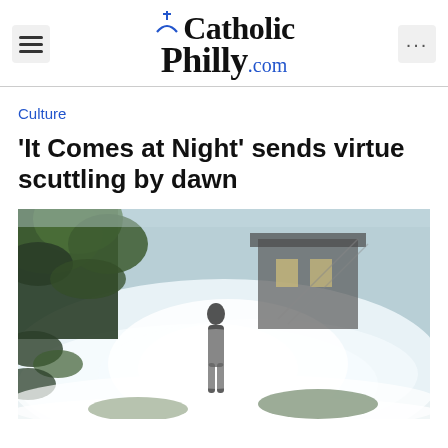CatholicPhilly.com
Culture
'It Comes at Night' sends virtue scuttling by dawn
[Figure (photo): Atmospheric horror film still: a lone silhouetted figure stands in dense white fog in front of a dark wooded house, with green tree branches overhanging from the upper left.]